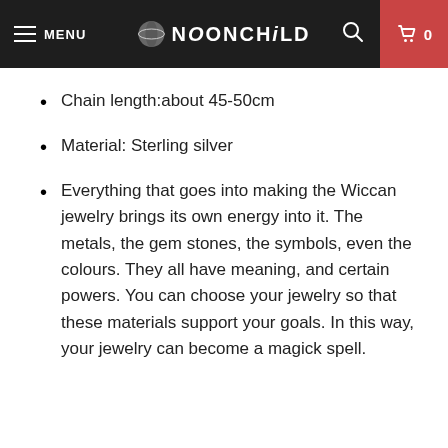MENU | NOONCHILD | 0
Chain length:about 45-50cm
Material: Sterling silver
Everything that goes into making the Wiccan jewelry brings its own energy into it. The metals, the gem stones, the symbols, even the colours. They all have meaning, and certain powers. You can choose your jewelry so that these materials support your goals. In this way, your jewelry can become a magick spell.